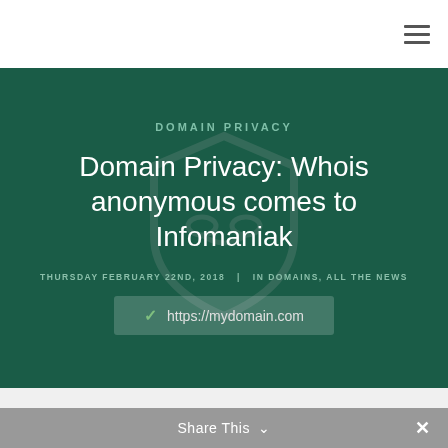DOMAIN PRIVACY
Domain Privacy: Whois anonymous comes to Infomaniak
THURSDAY FEBRUARY 22ND, 2018 | IN DOMAINS, ALL THE NEWS
✓ https://mydomain.com
Share This